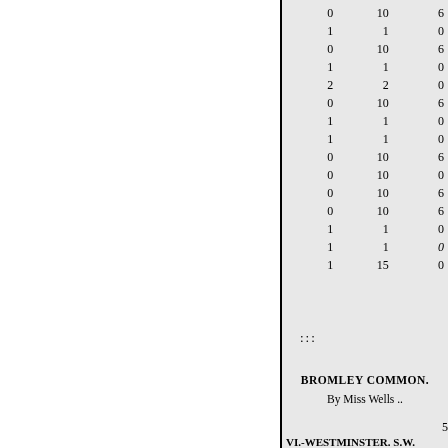| £ | s | d |
| --- | --- | --- |
| 0 | 10 | 6 |
| 1 | 1 | 0 |
| 0 | 10 | 6 |
| 1 | 1 | 0 |
| 2 | 2 | 0 |
| 0 | 10 | 6 |
| 1 | 1 | 0 |
| 1 | 1 | 0 |
| 0 | 10 | 6 |
| 0 | 10 | 0 |
| 0 | 10 | 6 |
| 0 | 10 | 6 |
| 1 | 1 | 0 |
| 1 | 1 | 0 |
| 1 | 15 | 0 |
::::
BROMLEY COMMON.
By Miss Wells ..
5
VI.-WESTMINSTER. S.W.